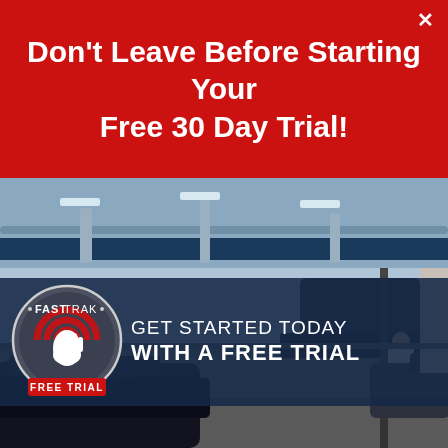Don't Leave Before Starting Your Free 30 Day Trial!
[Figure (photo): Auto repair garage interior with cars on lifts and a mechanic in red pants working under a raised vehicle. Blue steel ceiling structure visible. FastTrak logo circle with pointer/hand icon and FREE TRIAL badge overlaid on a dark semi-transparent banner reading GET STARTED TODAY WITH A FREE TRIAL.]